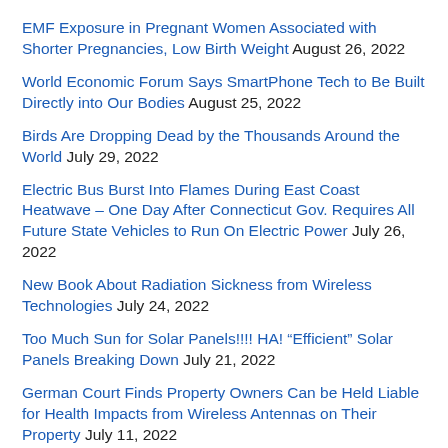EMF Exposure in Pregnant Women Associated with Shorter Pregnancies, Low Birth Weight August 26, 2022
World Economic Forum Says SmartPhone Tech to Be Built Directly into Our Bodies August 25, 2022
Birds Are Dropping Dead by the Thousands Around the World July 29, 2022
Electric Bus Burst Into Flames During East Coast Heatwave – One Day After Connecticut Gov. Requires All Future State Vehicles to Run On Electric Power July 26, 2022
New Book About Radiation Sickness from Wireless Technologies July 24, 2022
Too Much Sun for Solar Panels!!!! HA! “Efficient” Solar Panels Breaking Down July 21, 2022
German Court Finds Property Owners Can be Held Liable for Health Impacts from Wireless Antennas on Their Property July 11, 2022